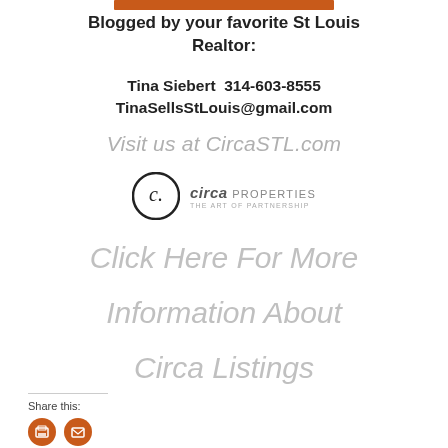[Figure (other): Orange decorative bar at top center]
Blogged by your favorite St Louis Realtor:
Tina Siebert  314-603-8555
TinaSellsStLouis@gmail.com
Visit us at CircaSTL.com
[Figure (logo): Circa Properties logo - circular C mark with 'circa PROPERTIES THE ART OF PARTNERSHIP' text]
Click Here For More
Information About
Circa Listings
Share this:
[Figure (other): Two orange circular share icons (print and email)]